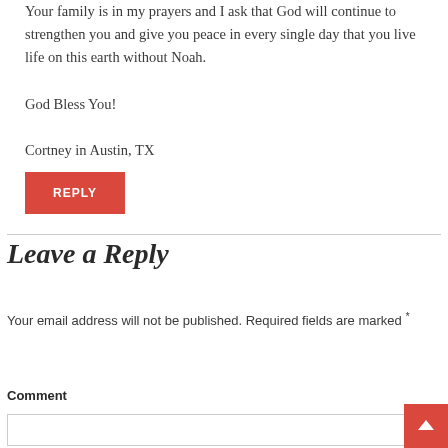Your family is in my prayers and I ask that God will continue to strengthen you and give you peace in every single day that you live life on this earth without Noah.

God Bless You!

Cortney in Austin, TX
REPLY
Leave a Reply
Your email address will not be published. Required fields are marked *
Comment